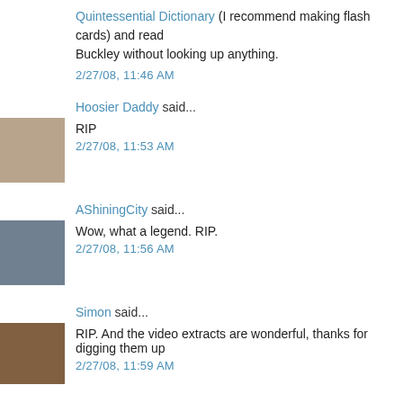Quintessential Dictionary (I recommend making flash cards) and read Buckley without looking up anything.
2/27/08, 11:46 AM
Hoosier Daddy said...
RIP
2/27/08, 11:53 AM
AShiningCity said...
Wow, what a legend. RIP.
2/27/08, 11:56 AM
Simon said...
RIP. And the video extracts are wonderful, thanks for digging them up
2/27/08, 11:59 AM
the wolf said...